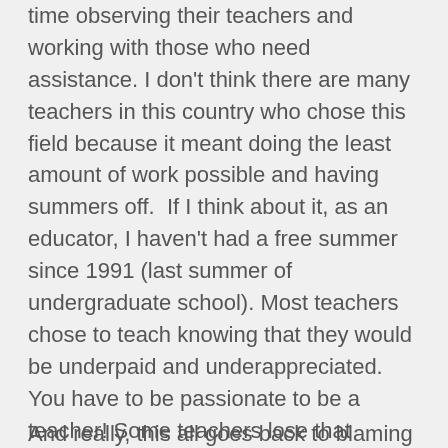time observing their teachers and working with those who need assistance. I don't think there are many teachers in this country who chose this field because it meant doing the least amount of work possible and having summers off. If I think about it, as an educator, I haven't had a free summer since 1991 (last summer of undergraduate school). Most teachers chose to teach knowing that they would be underpaid and underappreciated. You have to be passionate to be a teacher! Some teachers lose that passion along the way. They just need to feel appreciated and supported in an environment that allows for personal and professional growth. I don't see that in a lot of schools around our country.
And really, this all goes back to blaming teachers for student lack of success. That...